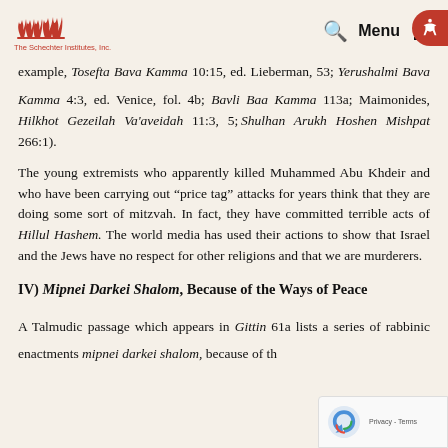The Schechter Institutes, Inc.
example, Tosefta Bava Kamma 10:15, ed. Lieberman, 53; Yerushalmi Bava Kamma 4:3, ed. Venice, fol. 4b; Bavli Bava Kamma 113a; Maimonides, Hilkhot Gezeilah Va'aveidah 11:3, 5; Shulhan Arukh Hoshen Mishpat 266:1).
The young extremists who apparently killed Muhammed Abu Khdeir and who have been carrying out “price tag” attacks for years think that they are doing some sort of mitzvah. In fact, they have committed terrible acts of Hillul Hashem. The world media has used their actions to show that Israel and the Jews have no respect for other religions and that we are murderers.
IV) Mipnei Darkei Shalom, Because of the Ways of Peace
A Talmudic passage which appears in Gittin 61a lists a series of rabbinic enactments mipnei darkei shalom, because of the ways of peace, including feeding non-Jews along with Jews and...